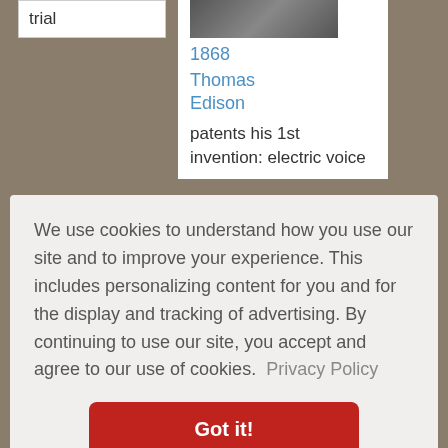trial
[Figure (photo): Black and white portrait photo of Thomas Edison]
1868
Thomas Edison
patents his 1st invention: electric voice
We use cookies to understand how you use our site and to improve your experience. This includes personalizing content for you and for the display and tracking of advertising. By continuing to use our site, you accept and agree to our use of cookies. Privacy Policy
Got it!